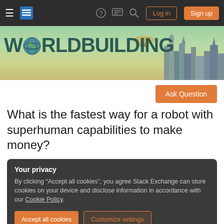Worldbuilding Stack Exchange — Navigation bar with hamburger menu, logo, help, chat, search, Log in, Sign up
[Figure (illustration): Worldbuilding Stack Exchange banner with stylized text 'WORLDBUILDING', globe icon replacing the 'O', and a fantasy cityscape with futuristic buildings and airship in background]
[Figure (other): Ask Question orange button]
What is the fastest way for a robot with superhuman capabilities to make money?
Your privacy
By clicking "Accept all cookies", you agree Stack Exchange can store cookies on your device and disclose information in accordance with our Cookie Policy.
[Accept all cookies] [Customize settings]
exceeding that of the average human to assist him